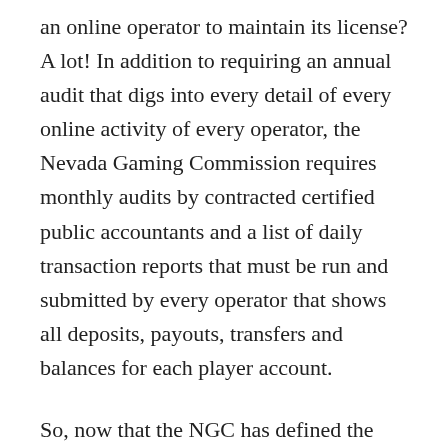an online operator to maintain its license? A lot! In addition to requiring an annual audit that digs into every detail of every online activity of every operator, the Nevada Gaming Commission requires monthly audits by contracted certified public accountants and a list of daily transaction reports that must be run and submitted by every operator that shows all deposits, payouts, transfers and balances for each player account.
So, now that the NGC has defined the data that's required from each operator for player accounts, it will need to have the technology to mine and analyze all of this data to make sure there's no fraud or other unlawful activity. Time